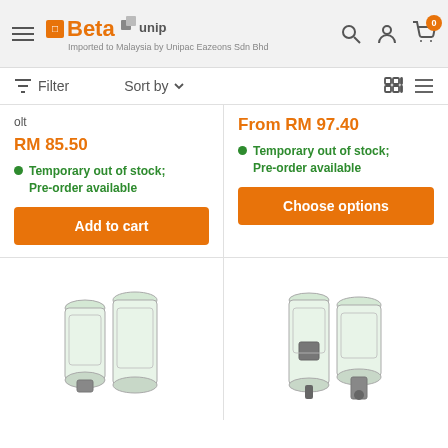Beta Unipac — Imported to Malaysia by Unipac Eazeons Sdn Bhd
Filter   Sort by
olt
From RM 97.40
RM 85.50
Temporary out of stock; Pre-order available
Temporary out of stock; Pre-order available
Add to cart
Choose options
[Figure (photo): Two transparent cylindrical filter/lubricator units side by side (left product)]
[Figure (photo): Two transparent cylindrical filter/lubricator units side by side (right product)]